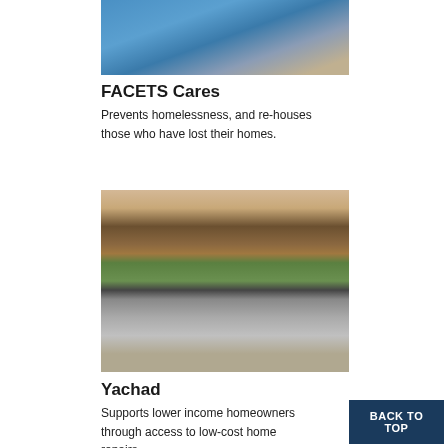[Figure (photo): Two people, one wearing a blue shirt and one wearing a gray shirt, appearing to work or interact near a vehicle]
FACETS Cares
Prevents homelessness, and re-houses those who have lost their homes.
[Figure (photo): Three workers doing home renovation/repair work on ceiling or wall framing, one wearing green shirt on left, one crouching in middle, one wearing black shirt and hat on right]
Yachad
Supports lower income homeowners through access to low-cost home repairs.